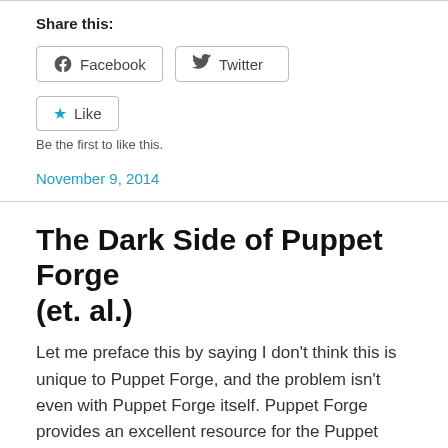Share this:
[Figure (screenshot): Facebook and Twitter share buttons]
[Figure (screenshot): Like button with star icon]
Be the first to like this.
November 9, 2014
The Dark Side of Puppet Forge (et. al.)
Let me preface this by saying I don't think this is unique to Puppet Forge, and the problem isn't even with Puppet Forge itself. Puppet Forge provides an excellent resource for the Puppet community, and I think it's a rich…